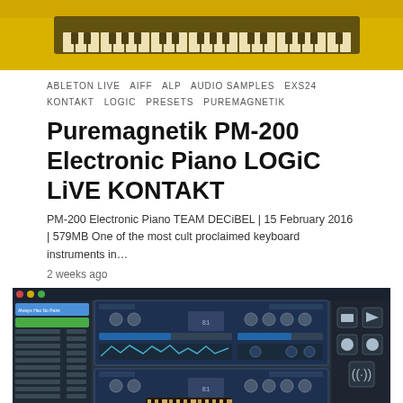[Figure (photo): Yellow electronic piano keyboard photograph, partially visible at top of page]
ABLETON LIVE  AIFF  ALP  AUDIO SAMPLES  EXS24
KONTAKT  LOGIC  PRESETS  PUREMAGNETIK
Puremagnetik PM-200 Electronic Piano LOGiC LiVE KONTAKT
PM-200 Electronic Piano TEAM DECiBEL | 15 February 2016 | 579MB One of the most cult proclaimed keyboard instruments in…
2 weeks ago
[Figure (screenshot): Screenshot of a digital audio workstation software interface showing Kontakt/Logic plugin UI with dark blue/grey color scheme, preset list on left, instrument controls in center, and utility buttons on right]